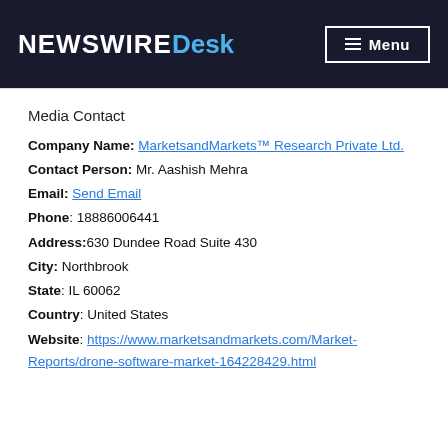NewswireDesk Menu
Media Contact
Company Name: MarketsandMarkets™ Research Private Ltd.
Contact Person: Mr. Aashish Mehra
Email: Send Email
Phone: 18886006441
Address:630 Dundee Road Suite 430
City: Northbrook
State: IL 60062
Country: United States
Website: https://www.marketsandmarkets.com/Market-Reports/drone-software-market-164228429.html